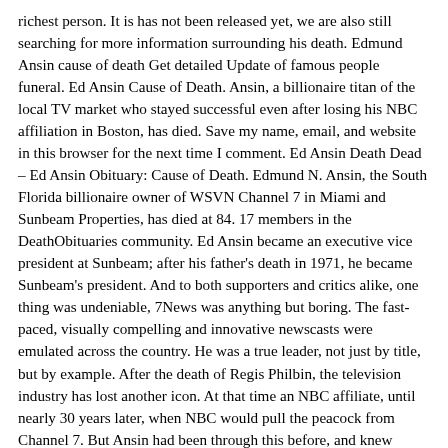richest person. It is has not been released yet, we are also still searching for more information surrounding his death. Edmund Ansin cause of death Get detailed Update of famous people funeral. Ed Ansin Cause of Death. Ansin, a billionaire titan of the local TV market who stayed successful even after losing his NBC affiliation in Boston, has died. Save my name, email, and website in this browser for the next time I comment. Ed Ansin Death Dead – Ed Ansin Obituary: Cause of Death. Edmund N. Ansin, the South Florida billionaire owner of WSVN Channel 7 in Miami and Sunbeam Properties, has died at 84. 17 members in the DeathObituaries community. Ed Ansin became an executive vice president at Sunbeam; after his father's death in 1971, he became Sunbeam's president. And to both supporters and critics alike, one thing was undeniable, 7News was anything but boring. The fast-paced, visually compelling and innovative newscasts were emulated across the country. He was a true leader, not just by title, but by example. After the death of Regis Philbin, the television industry has lost another icon. At that time an NBC affiliate, until nearly 30 years later, when NBC would pull the peacock from Channel 7. But Ansin had been through this before, and knew necessity is the mother of invention. Edmund Ansin Death – Dead: A great loss was made known to InsideEko. Breaking News: saddened to report the owner of channel 7 Ed Ansin passed away today…it was an honor to work for him for 21 years and we will continue to carry on his legacy and commitment to the news